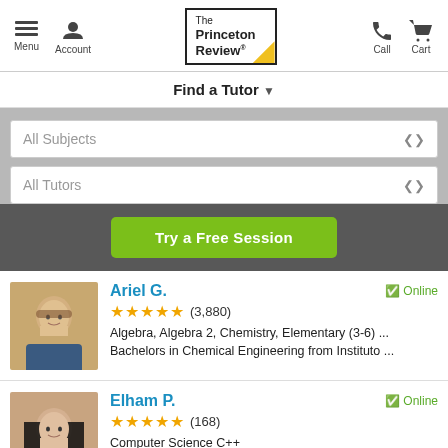[Figure (screenshot): The Princeton Review logo in bordered box with yellow corner triangle]
Find a Tutor ▾
All Subjects
All Tutors
Try a Free Session
Ariel G.
★★★★★ (3,880)
Algebra, Algebra 2, Chemistry, Elementary (3-6) ...
Bachelors in Chemical Engineering from Instituto ...
Elham P.
★★★★★ (168)
Computer Science C++
Bachelors in Computer Science from California St...